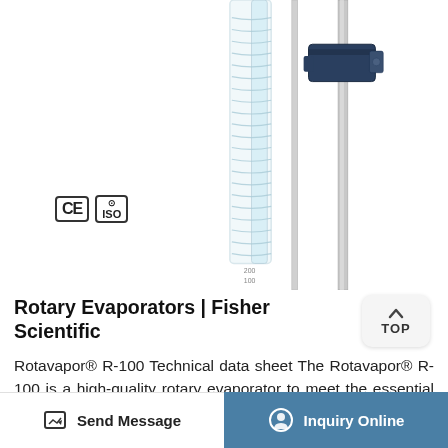[Figure (photo): Close-up photo of a rotary evaporator (Rotavapor R-100) showing glass condenser coil column and metal stand/clamp hardware against white background. CE and ISO certification badges visible in lower left of image.]
Rotary Evaporators | Fisher Scientific
Rotavapor® R-100 Technical data sheet The Rotavapor® R-100 is a high-quality rotary evaporator to meet the essential needs in classical laboratory applications. It is capable of a manually adjustable rotation speed of 20 to 280 rpm and equipped with an action jack lift for
Send Message   Inquiry Online